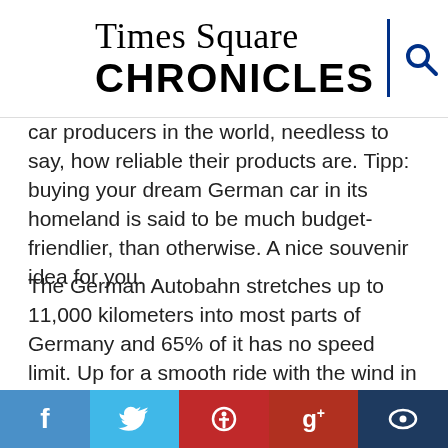Times Square CHRONICLES
car producers in the world, needless to say, how reliable their products are. Tipp: buying your dream German car in its homeland is said to be much budget-friendlier, than otherwise. A nice souvenir idea for you.
The German Autobahn stretches up to 11,000 kilometers into most parts of Germany and 65% of it has no speed limit. Up for a smooth ride with the wind in your hair? Note, however, that it's illegal to run out of gas there.
Germany's public transport system is in the world's top 10. It runs day & night and is as punctual as the Germans themselves. E.g. Munich is the second most punctual large airport in the world. Also, most taxis in Germany are Mercedes.
f  t  p  g+  bubble